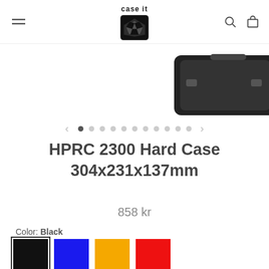case it — logo with navigation icons
[Figure (photo): Partial view of a black hard case (HPRC 2300) against white background, showing top-right portion with latches]
[Figure (other): Image carousel navigation: left arrow, 11 dots (first dot active/filled), right arrow]
HPRC 2300 Hard Case 304x231x137mm
858 kr
Color: Black
[Figure (other): Four color swatches: Black (selected, with border outline), Blue, Yellow/Orange, Red]